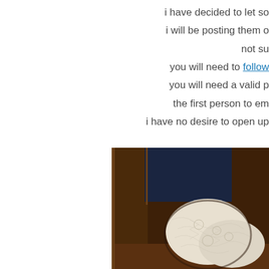i have decided to let so...
i will be posting them o...
not su...
you will need to follow...
you will need a valid p...
the first person to em...
i have no desire to open up...
[Figure (photo): A photo of knitted or crocheted white lace items resting on or near a wooden frame, dark background visible.]